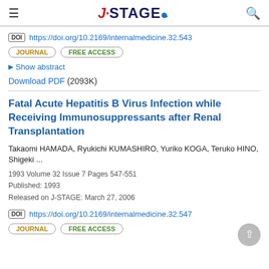J-STAGE
DOI https://doi.org/10.2169/internalmedicine.32.543
JOURNAL FREE ACCESS
Show abstract
Download PDF (2093K)
Fatal Acute Hepatitis B Virus Infection while Receiving Immunosuppressants after Renal Transplantation
Takaomi HAMADA, Ryukichi KUMASHIRO, Yuriko KOGA, Teruko HINO, Shigeki ...
1993 Volume 32 Issue 7 Pages 547-551
Published: 1993
Released on J-STAGE: March 27, 2006
DOI https://doi.org/10.2169/internalmedicine.32.547
JOURNAL FREE ACCESS